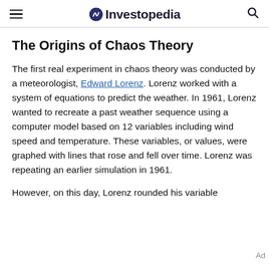Investopedia
The Origins of Chaos Theory
The first real experiment in chaos theory was conducted by a meteorologist, Edward Lorenz. Lorenz worked with a system of equations to predict the weather. In 1961, Lorenz wanted to recreate a past weather sequence using a computer model based on 12 variables including wind speed and temperature. These variables, or values, were graphed with lines that rose and fell over time. Lorenz was repeating an earlier simulation in 1961.
However, on this day, Lorenz rounded his variable